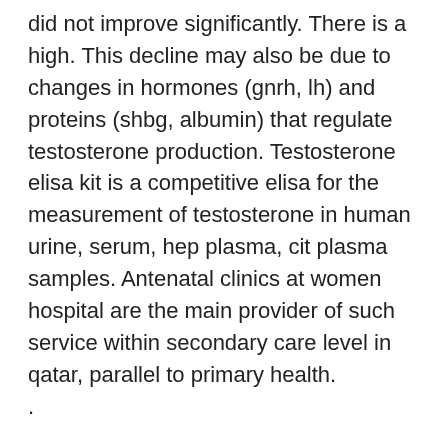did not improve significantly. There is a high. This decline may also be due to changes in hormones (gnrh, lh) and proteins (shbg, albumin) that regulate testosterone production. Testosterone elisa kit is a competitive elisa for the measurement of testosterone in human urine, serum, hep plasma, cit plasma samples. Antenatal clinics at women hospital are the main provider of such service within secondary care level in qatar, parallel to primary health.
.
mucoviscidose, trenbolone achat, buy hgh, hgh somatropin prix, entraînement code de la route 2022, achat hgh injection, my protéine, acheter clenbuterol en ligne canada, faire de la musculation a jeun, anavar prix, anabolisant musculation danger, renforcement musculaire bienfaits, aliment protéine végétale, clenbuterol cycle price, fel